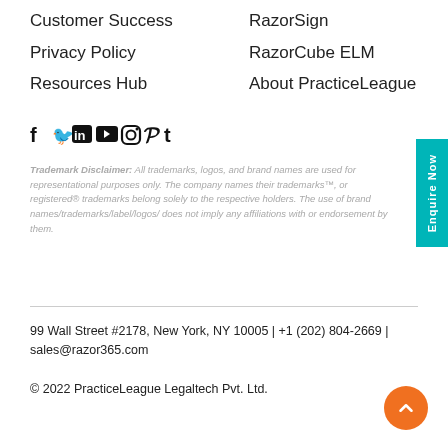Customer Success
Privacy Policy
Resources Hub
RazorSign
RazorCube ELM
About PracticeLeague
[Figure (other): Social media icons: Facebook, Twitter, LinkedIn, YouTube, Instagram, Pinterest, Tumblr]
Trademark Disclaimer: All trademarks, logos, and brand names are used for representational purposes only. The company names their trademarks™, or registered® trademarks belong solely to the respective holders. The use of brand names/trademarks/label/logos/ does not imply any affiliations with or endorsement by them.
99 Wall Street #2178, New York, NY 10005 | +1 (202) 804-2669 | sales@razor365.com
© 2022 PracticeLeague Legaltech Pvt. Ltd.